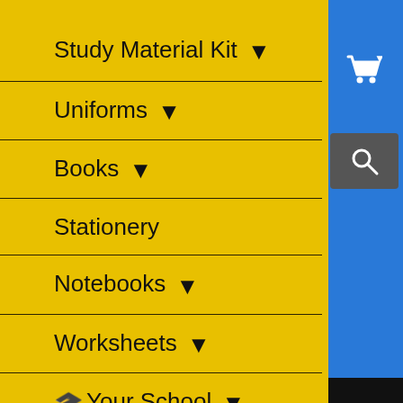[Figure (screenshot): Navigation menu on yellow background with blue sidebar. Cart icon and search box visible on blue panel. Menu items: Study Material Kit, Uniforms, Books, Stationery, Notebooks, Worksheets, Your School.]
Study Material Kit ▾
Uniforms ▾
Books ▾
Stationery
Notebooks ▾
Worksheets ▾
🎓 Your School ▾